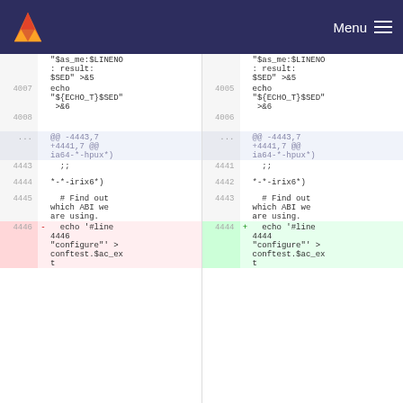GitLab logo | Menu
| line-old | marker | code-old | line-new | marker | code-new |
| --- | --- | --- | --- | --- | --- |
|  |  | "$as_me:$LINENO: result: $SED" >&5 |  |  | "$as_me:$LINENO: result: $SED" >&5 |
| 4007 |  | echo "${ECHO_T}$SED" >&6 | 4005 |  | echo "${ECHO_T}$SED" >&6 |
| 4008 |  |  | 4006 |  |  |
| ... |  | @@ -4443,7 +4441,7 @@ ia64-*-hpux*) | ... |  | @@ -4443,7 +4441,7 @@ ia64-*-hpux*) |
| 4443 |  | ;; | 4441 |  | ;; |
| 4444 |  | *-*-irix6*) | 4442 |  | *-*-irix6*) |
| 4445 |  |   # Find out which ABI we are using. | 4443 |  |   # Find out which ABI we are using. |
| 4446 | - | echo '#line 4446 "configure"' > conftest.$ac_ext | 4444 | + | echo '#line 4444 "configure"' > conftest.$ac_ext |